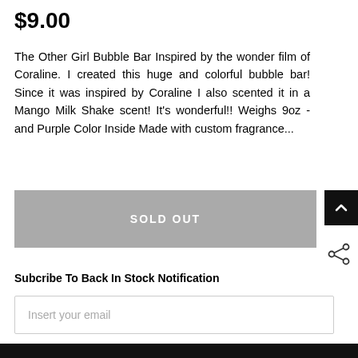$9.00
The Other Girl Bubble Bar  Inspired by the wonder film of Coraline. I created this huge and colorful bubble bar!  Since it was inspired by Coraline I also scented it in a Mango Milk Shake scent! It's wonderful!!    Weighs 9oz - and Purple Color Inside  Made with custom fragrance...
SOLD OUT
Subcribe To Back In Stock Notification
Insert your email